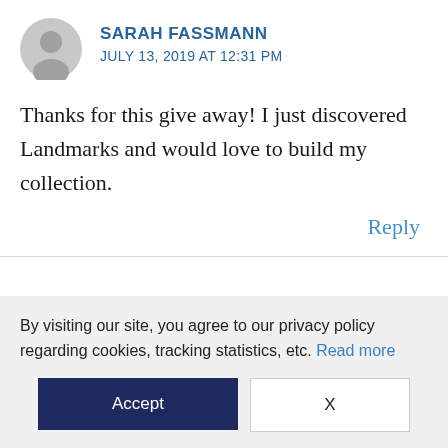[Figure (illustration): Gray circular avatar placeholder icon showing a silhouette of a person]
SARAH FASSMANN
JULY 13, 2019 AT 12:31 PM
Thanks for this give away! I just discovered Landmarks and would love to build my collection.
Reply
By visiting our site, you agree to our privacy policy regarding cookies, tracking statistics, etc. Read more
Accept
X